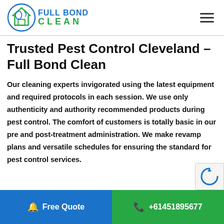Full Bond Clean — navigation header with logo and hamburger menu
Trusted Pest Control Cleveland – Full Bond Clean
Our cleaning experts invigorated using the latest equipment and required protocols in each session. We use only authenticity and authority recommended products during pest control. The comfort of customers is totally basic in our pre and post-treatment administration. We make revamp plans and versatile schedules for ensuring the standard for pest control services.
Free Quote   +61451895677